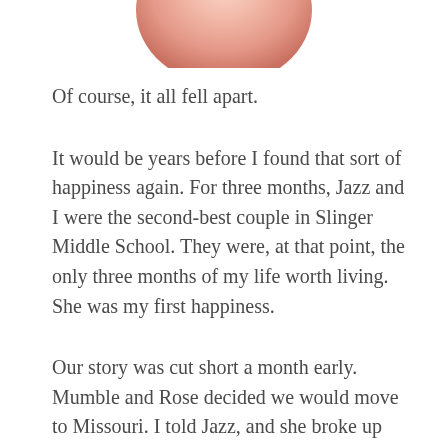[Figure (photo): Partial photo of a person's face cropped at the top of the page, showing only the lower portion (chin/neck area) against a white background.]
Of course, it all fell apart.
It would be years before I found that sort of happiness again. For three months, Jazz and I were the second-best couple in Slinger Middle School. They were, at that point, the only three months of my life worth living. She was my first happiness.
Our story was cut short a month early. Mumble and Rose decided we would move to Missouri. I told Jazz, and she broke up with me that day. I still had to live there for another month. Seeing her every day broke parts of me that took years beyond